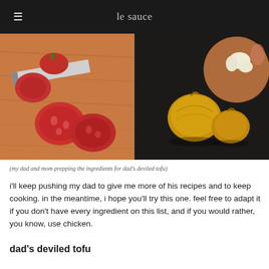le sauce
[Figure (photo): Two-panel food photography: left panel shows sliced tomatoes on a wooden cutting board with a knife; right panel shows onions on a dark surface with a round wooden board and garlic in the background.]
(my dad and mom prepping the ingredients for dad's deviled tofu)
i'll keep pushing my dad to give me more of his recipes and to keep cooking. in the meantime, i hope you'll try this one. feel free to adapt it if you don't have every ingredient on this list, and if you would rather, you know, use chicken.
dad's deviled tofu